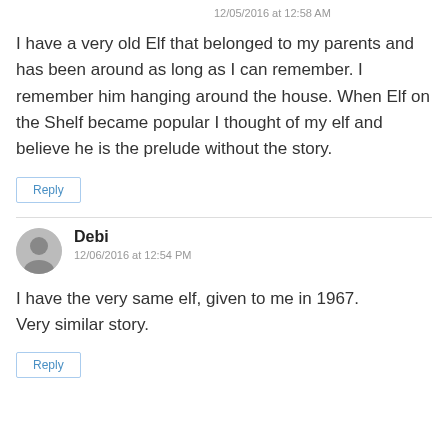12/05/2016 at 12:58 AM
I have a very old Elf that belonged to my parents and has been around as long as I can remember. I remember him hanging around the house. When Elf on the Shelf became popular I thought of my elf and believe he is the prelude without the story.
Reply
Debi
12/06/2016 at 12:54 PM
I have the very same elf, given to me in 1967.
Very similar story.
Reply